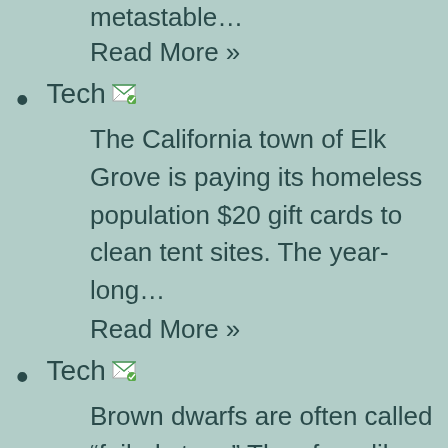metastable…
Read More »
Tech [icon]
The California town of Elk Grove is paying its homeless population $20 gift cards to clean tent sites. The year-long…
Read More »
Tech [icon]
Brown dwarfs are often called “failed stars.” They form like stars but are not massive enough to fuse hydrogen into…
Read More »
Tech [icon]
OpenAI OpenAI’s GPT-2 text-generating